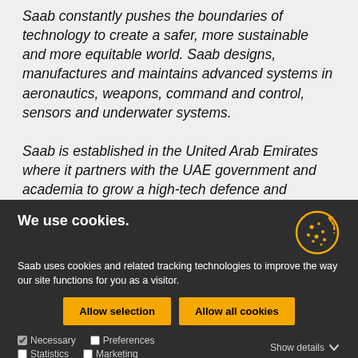Saab constantly pushes the boundaries of technology to create a safer, more sustainable and more equitable world. Saab designs, manufactures and maintains advanced systems in aeronautics, weapons, command and control, sensors and underwater systems.
Saab is established in the United Arab Emirates where it partners with the UAE government and academia to grow a high-tech defence and security industry. The company develops world-class solutions, for national needs as well
We use cookies.
Saab uses cookies and related tracking technologies to improve the way our site functions for you as a visitor.
Allow selection
Allow all cookies
Necessary  Preferences  Statistics  Marketing  Show details